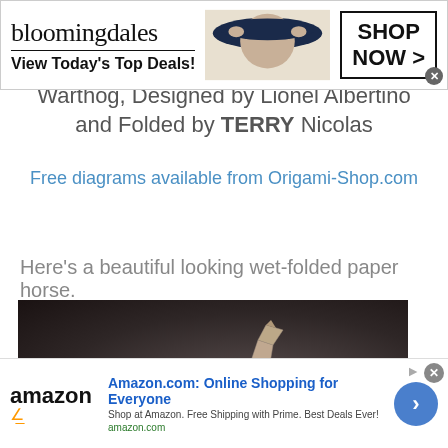[Figure (screenshot): Bloomingdale's advertisement banner: logo, 'View Today's Top Deals!' text, woman with hat photo, 'SHOP NOW >' button]
Warthog, Designed by Lionel Albertino and Folded by TERRY Nicolas
Free diagrams available from Origami-Shop.com
Here's a beautiful looking wet-folded paper horse.
[Figure (photo): Dark background photo of a wet-folded origami paper horse, beige/tan colored paper sculpture]
[Figure (screenshot): Amazon advertisement banner: Amazon logo, 'Amazon.com: Online Shopping for Everyone', 'Shop at Amazon. Free Shipping with Prime. Best Deals Ever!', amazon.com URL, blue circle arrow button]